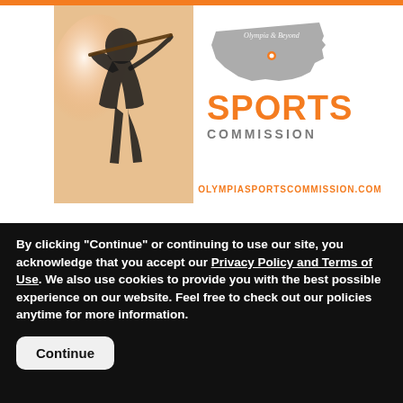[Figure (illustration): Olympia & Beyond Sports Commission advertisement banner. Shows a baseball batter silhouette on left with orange top bar, Washington state shape in gray with 'Olympia & Beyond SPORTS COMMISSION' text in orange and gray, and orange website URL OLYMPIASPORTSCOMMISSION.COM at bottom.]
[Figure (screenshot): Sports Destinations Management video thumbnail header showing 'Meet Your Goals in Ann Arbor. Ann Ar...' with sports logo circle on left, three-dot menu on right, and video scene with sky, trees and large 'ANN' text in cyan.]
By clicking "Continue" or continuing to use our site, you acknowledge that you accept our Privacy Policy and Terms of Use. We also use cookies to provide you with the best possible experience on our website. Feel free to check out our policies anytime for more information.
Continue